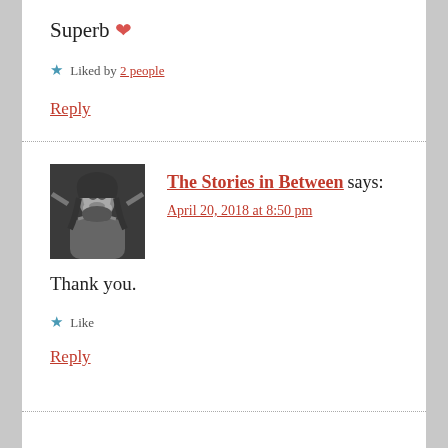Superb ❤
★ Liked by 2 people
Reply
The Stories in Between says:
April 20, 2018 at 8:50 pm
Thank you.
★ Like
Reply